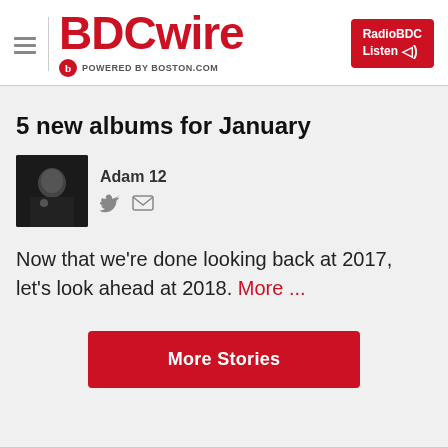BDCwire — POWERED BY BOSTON.COM
5 new albums for January
Adam 12
Now that we're done looking back at 2017, let's look ahead at 2018. More ...
More Stories